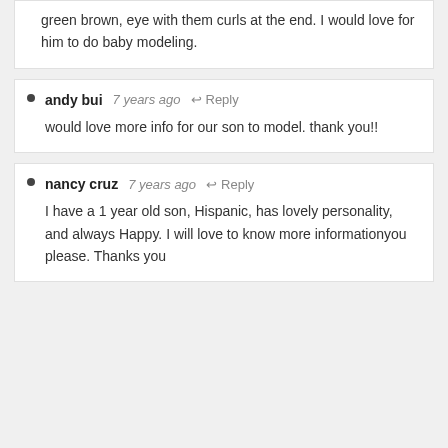green brown, eye with them curls at the end. I would love for him to do baby modeling.
andy bui  7 years ago  Reply
would love more info for our son to model. thank you!!
nancy cruz  7 years ago  Reply
I have a 1 year old son, Hispanic, has lovely personality, and always Happy. I will love to know more informationyou please. Thanks you